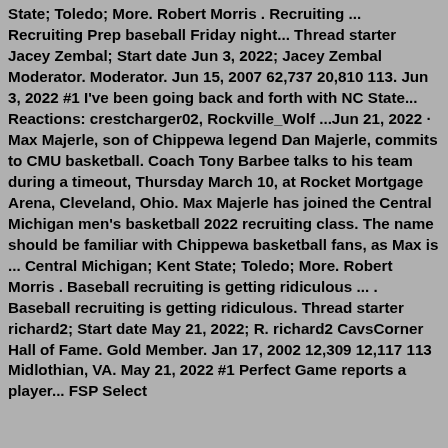State; Toledo; More. Robert Morris . Recruiting ... Recruiting Prep baseball Friday night... Thread starter Jacey Zembal; Start date Jun 3, 2022; Jacey Zembal Moderator. Moderator. Jun 15, 2007 62,737 20,810 113. Jun 3, 2022 #1 I've been going back and forth with NC State... Reactions: crestcharger02, Rockville_Wolf ...Jun 21, 2022 · Max Majerle, son of Chippewa legend Dan Majerle, commits to CMU basketball. Coach Tony Barbee talks to his team during a timeout, Thursday March 10, at Rocket Mortgage Arena, Cleveland, Ohio. Max Majerle has joined the Central Michigan men's basketball 2022 recruiting class. The name should be familiar with Chippewa basketball fans, as Max is ... Central Michigan; Kent State; Toledo; More. Robert Morris . Baseball recruiting is getting ridiculous ... . Baseball recruiting is getting ridiculous. Thread starter richard2; Start date May 21, 2022; R. richard2 CavsCorner Hall of Fame. Gold Member. Jan 17, 2002 12,309 12,117 113 Midlothian, VA. May 21, 2022 #1 Perfect Game reports a player... FSP Select